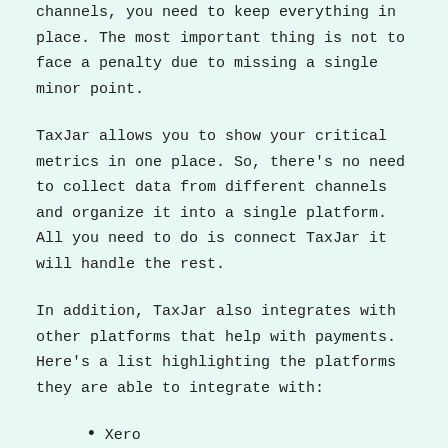channels, you need to keep everything in place. The most important thing is not to face a penalty due to missing a single minor point.
TaxJar allows you to show your critical metrics in one place. So, there's no need to collect data from different channels and organize it into a single platform. All you need to do is connect TaxJar it will handle the rest.
In addition, TaxJar also integrates with other platforms that help with payments. Here's a list highlighting the platforms they are able to integrate with:
Xero
Amazon
Magento
BigCommerce
Shopify